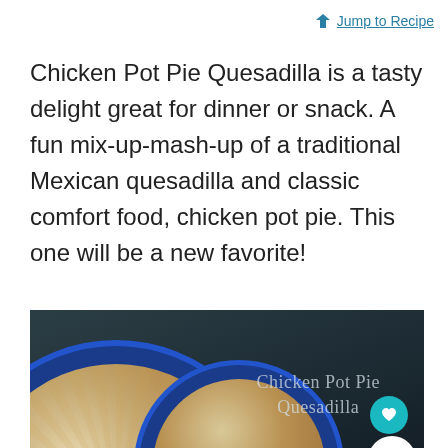Jump to Recipe
Chicken Pot Pie Quesadilla is a tasty delight great for dinner or snack. A fun mix-up-mash-up of a traditional Mexican quesadilla and classic comfort food, chicken pot pie. This one will be a new favorite!
[Figure (photo): Photo of a Chicken Pot Pie Quesadilla on a blue plate against a dark slate background, with watermark text 'Chicken Pot Pie Quesadilla', a teal heart button, and a white share button.]